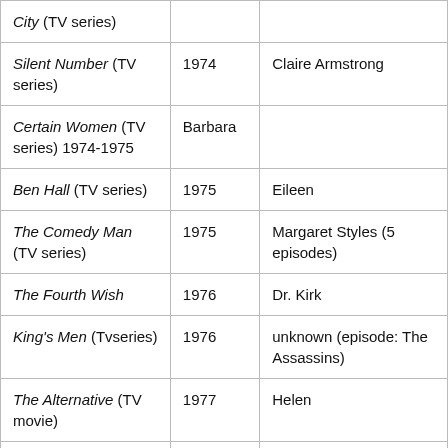| Title | Year | Role |
| --- | --- | --- |
| City (TV series) |  |  |
| Silent Number (TV series) | 1974 | Claire Armstrong |
| Certain Women (TV series) 1974-1975 | Barbara |  |
| Ben Hall (TV series) | 1975 | Eileen |
| The Comedy Man (TV series) | 1975 | Margaret Styles (5 episodes) |
| The Fourth Wish | 1976 | Dr. Kirk |
| King's Men (Tvseries) | 1976 | unknown (episode: The Assassins) |
| The Alternative (TV movie) | 1977 | Helen |
| ,No Room to Run | 1977 | Julie Deakin |